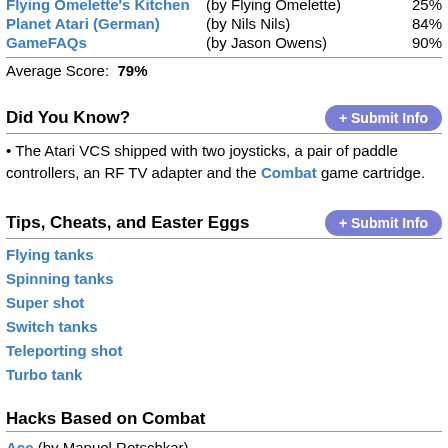| Site | Reviewer | Score |
| --- | --- | --- |
| Flying Omelette's Kitchen | (by Flying Omelette) | 25% |
| Planet Atari (German) | (by Nils Nils) | 84% |
| GameFAQs | (by Jason Owens) | 90% |
Average Score: 79%
Did You Know?
The Atari VCS shipped with two joysticks, a pair of paddle controllers, an RF TV adapter and the Combat game cartridge.
Tips, Cheats, and Easter Eggs
Flying tanks
Spinning tanks
Super shot
Switch tanks
Teleporting shot
Turbo tank
Hacks Based on Combat
Ace (by Manuel Rotschkar)
Combat Plus (by Pixellated Ghost)
Combat Redux (by Zach Matley)
Combat Rock (by Paul Slocum)
Crazy Combat (by Kratel)